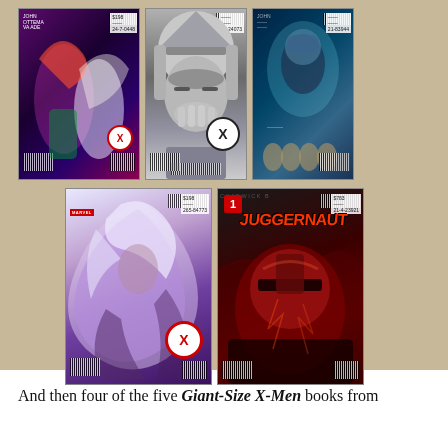[Figure (photo): Photograph of five comic books arranged on a tan/sandy surface. Top row has three comics: a Jean Grey/Emma Frost styled purple-themed Giant-Size X-Men comic, a grayscale Magneto-faced Giant-Size X-Men comic with black X badge, and a teal/blue themed X-Men comic. Bottom row has two larger comics: a Storm-themed Giant-Size X-Men comic with white/purple swirling art, and a Juggernaut #1 comic with red and dark art. All are bagged with price stickers.]
And then four of the five Giant-Size X-Men books from